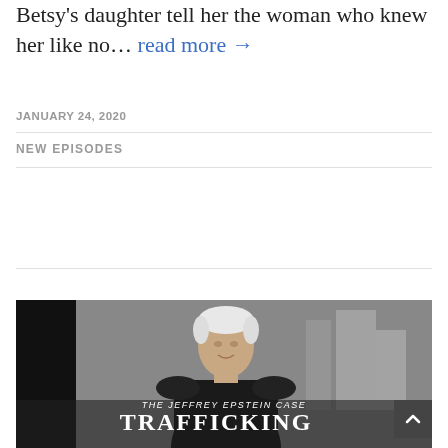Betsy's daughter tell her the woman who knew her like no… read more →
JANUARY 24, 2020
NEW EPISODES
[Figure (photo): A man with white/grey hair in a dark coat walking in an urban setting, with overlay text 'The Jeffrey Epstein Case – TrafficKing']